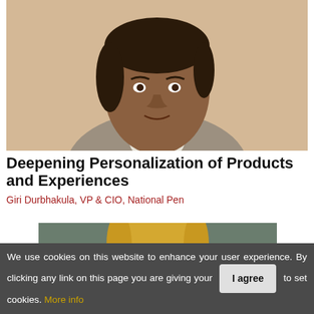[Figure (photo): Headshot of Giri Durbhakula, a man in a suit jacket with white shirt, against a tan/beige background]
Deepening Personalization of Products and Experiences
Giri Durbhakula, VP & CIO, National Pen
[Figure (photo): Partial headshot of a woman with blonde hair against a dark greenish background]
We use cookies on this website to enhance your user experience. By clicking any link on this page you are giving your consent to set cookies. More info